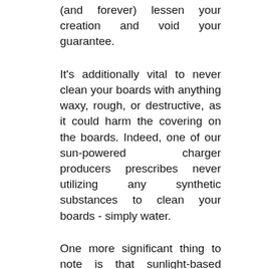(and forever) lessen your creation and void your guarantee.
It's additionally vital to never clean your boards with anything waxy, rough, or destructive, as it could harm the covering on the boards. Indeed, one of our sun-powered charger producers prescribes never utilizing any synthetic substances to clean your boards - simply water.
One more significant thing to note is that sunlight-based chargers can get exceptionally blistering when the sun is out. Select a cloudy day to do the cleaning, in case not really set in stone to do as such.
A lot more secure bet is to enlist an expert for solar panel cleaning in Sacramento, CA. They'll utilize the legitimate hardware and